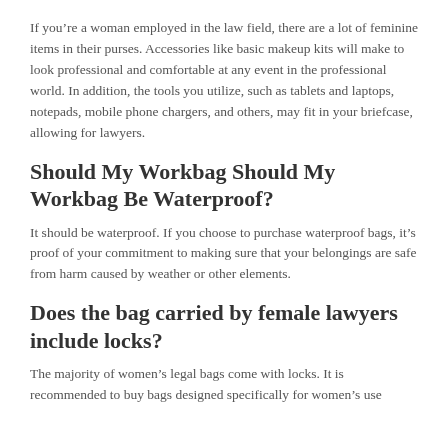If you’re a woman employed in the law field, there are a lot of feminine items in their purses. Accessories like basic makeup kits will make to look professional and comfortable at any event in the professional world. In addition, the tools you utilize, such as tablets and laptops, notepads, mobile phone chargers, and others, may fit in your briefcase, allowing for lawyers.
Should My Workbag Should My Workbag Be Waterproof?
It should be waterproof. If you choose to purchase waterproof bags, it’s proof of your commitment to making sure that your belongings are safe from harm caused by weather or other elements.
Does the bag carried by female lawyers include locks?
The majority of women’s legal bags come with locks. It is recommended to buy bags designed specifically for women’s use